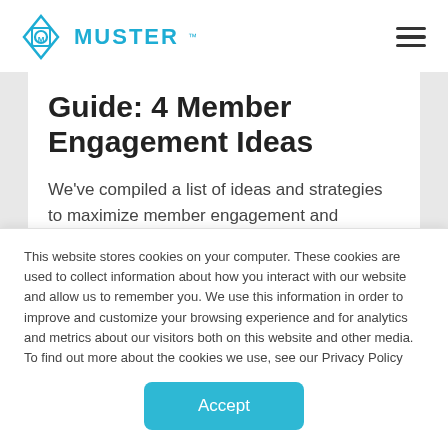MUSTER
Guide: 4 Member Engagement Ideas
We've compiled a list of ideas and strategies to maximize member engagement and nonprofit marketing during the summer.
This website stores cookies on your computer. These cookies are used to collect information about how you interact with our website and allow us to remember you. We use this information in order to improve and customize your browsing experience and for analytics and metrics about our visitors both on this website and other media. To find out more about the cookies we use, see our Privacy Policy
Accept